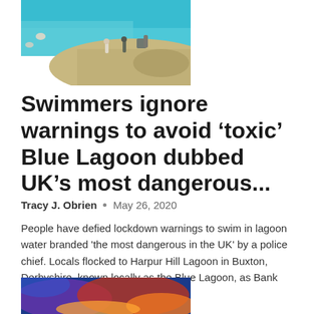[Figure (photo): Aerial view of a beach/lagoon with turquoise water and sandy shore, people visible on the beach and in the water]
Swimmers ignore warnings to avoid ‘toxic’ Blue Lagoon dubbed UK’s most dangerous...
Tracy J. Obrien  •  May 26, 2020
People have defied lockdown warnings to swim in lagoon water branded 'the most dangerous in the UK' by a police chief. Locals flocked to Harpur Hill Lagoon in Buxton, Derbyshire, known locally as the Blue Lagoon, as Bank Holiday!-->...
[Figure (photo): Dramatic sky photo with vibrant orange, blue and purple clouds]